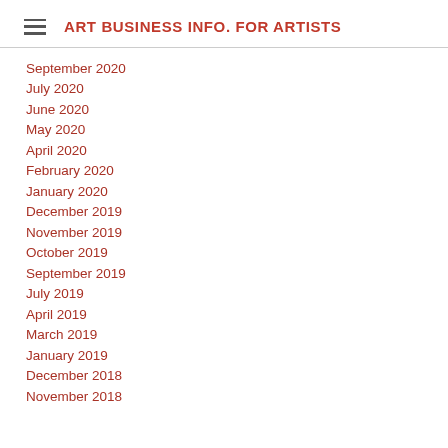ART BUSINESS INFO. FOR ARTISTS
September 2020
July 2020
June 2020
May 2020
April 2020
February 2020
January 2020
December 2019
November 2019
October 2019
September 2019
July 2019
April 2019
March 2019
January 2019
December 2018
November 2018